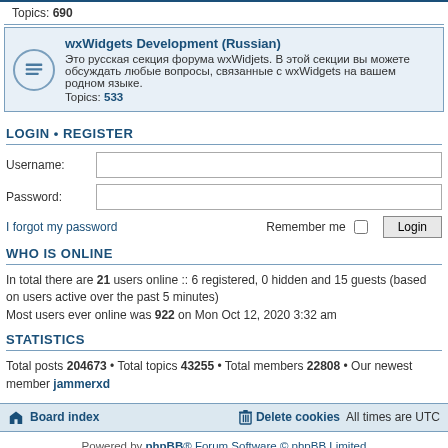Topics: 690
wxWidgets Development (Russian)
Это русская секция форума wxWidjets. В этой секции вы можете обсуждать любые вопросы, связанные с wxWidgets на вашем родном языке.
Topics: 533
LOGIN • REGISTER
Username:
Password:
I forgot my password
Remember me  Login
WHO IS ONLINE
In total there are 21 users online :: 6 registered, 0 hidden and 15 guests (based on users active over the past 5 minutes)
Most users ever online was 922 on Mon Oct 12, 2020 3:32 am
STATISTICS
Total posts 204673 • Total topics 43255 • Total members 22808 • Our newest member jammerxd
Board index   Delete cookies   All times are UTC
Powered by phpBB® Forum Software © phpBB Limited
Privacy | Terms